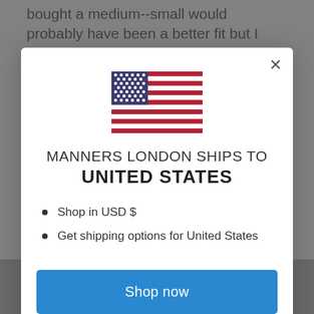bought a medium--small would probably have been a better fit but I LOVE this outfit all the
[Figure (illustration): US flag icon displayed at center of modal]
MANNERS LONDON SHIPS TO
UNITED STATES
Shop in USD $
Get shipping options for United States
Shop now
Change shipping country